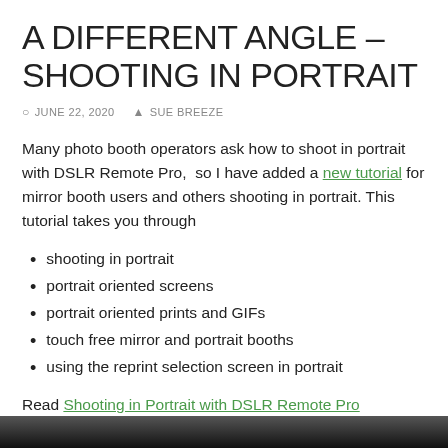A DIFFERENT ANGLE – SHOOTING IN PORTRAIT
JUNE 22, 2020   SUE BREEZE
Many photo booth operators ask how to shoot in portrait with DSLR Remote Pro,  so I have added a new tutorial for mirror booth users and others shooting in portrait. This tutorial takes you through
shooting in portrait
portrait oriented screens
portrait oriented prints and GIFs
touch free mirror and portrait booths
using the reprint selection screen in portrait
Read Shooting in Portrait with DSLR Remote Pro
[Figure (photo): Dark photograph strip visible at the bottom of the page]